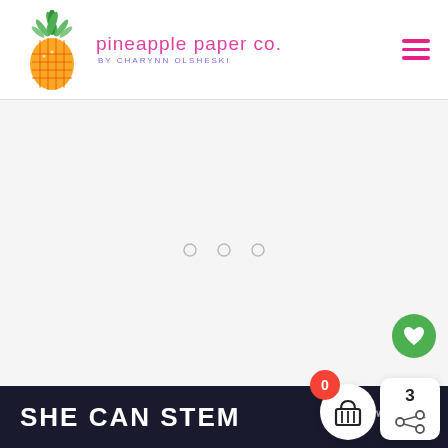pineapple paper co. by CHARYNN OLSHESKI
[Figure (screenshot): Large white/light gray content area with faint loading dots in the center]
[Figure (infographic): UI overlay: green heart button, basket icon with red 0 badge, share panel showing number 3]
SHE CAN STEM